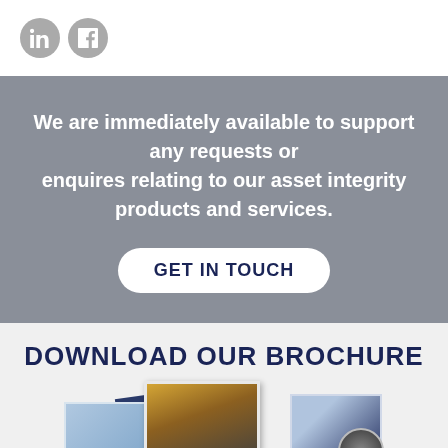[Figure (logo): LinkedIn and Facebook social media icon buttons (circular gray icons)]
We are immediately available to support any requests or enquires relating to our asset integrity products and services.
GET IN TOUCH
DOWNLOAD OUR BROCHURE
[Figure (photo): Stack of company brochures and a CD/disc showing industrial/engineering imagery]